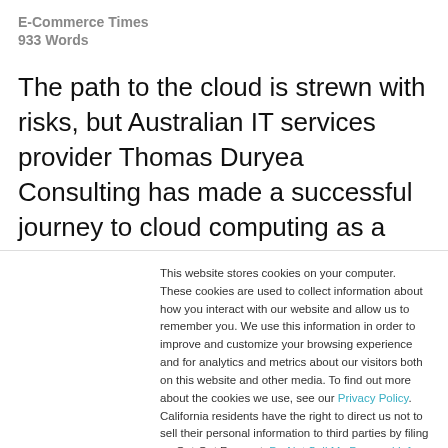E-Commerce Times
933 Words
The path to the cloud is strewn with risks, but Australian IT services provider Thomas Duryea Consulting has made a successful journey to cloud computing as a business. A cloud-of-clouds approach is providing new types of IT services to TD's many Asia-Pacific region
This website stores cookies on your computer. These cookies are used to collect information about how you interact with our website and allow us to remember you. We use this information in order to improve and customize your browsing experience and for analytics and metrics about our visitors both on this website and other media. To find out more about the cookies we use, see our Privacy Policy. California residents have the right to direct us not to sell their personal information to third parties by filing an Opt-Out Request: Do Not Sell My Personal Info.